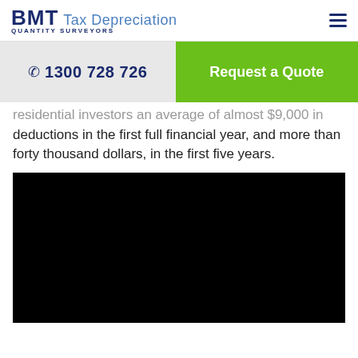BMT Tax Depreciation QUANTITY SURVEYORS
1300 728 726
Request a Quote
residential investors an average of almost $9,000 in deductions in the first full financial year, and more than forty thousand dollars, in the first five years.
[Figure (photo): Black video placeholder rectangle]